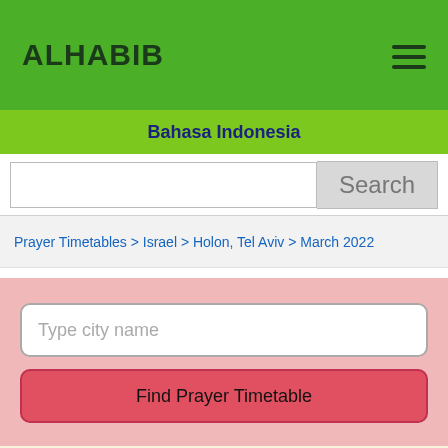ALHABIB
Bahasa Indonesia
Search
Prayer Timetables > Israel > Holon, Tel Aviv > March 2022
Type city name
Find Prayer Timetable
March 2022 Monthly Prayer Timetable (PDF, Excel versions): Holon, Tel Aviv, Israel